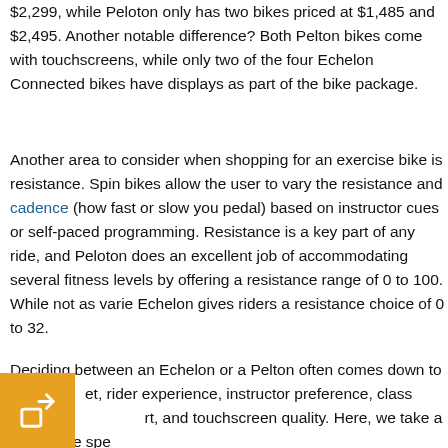$2,299, while Peloton only has two bikes priced at $1,485 and $2,495. Another notable difference? Both Pelton bikes come with touchscreens, while only two of the four Echelon Connected bikes have displays as part of the bike package.
Another area to consider when shopping for an exercise bike is resistance. Spin bikes allow the user to vary the resistance and cadence (how fast or slow you pedal) based on instructor cues or self-paced programming. Resistance is a key part of any ride, and Peloton does an excellent job of accommodating several fitness levels by offering a resistance range of 0 to 100. While not as varied, Echelon gives riders a resistance choice of 0 to 32.
Deciding between an Echelon or a Pelton often comes down to budget, rider experience, instructor preference, class content, comfort, and touchscreen quality. Here, we take a look at the spec